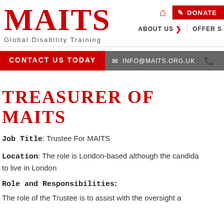MAITS - Global Disability Training
TREASURER OF MAITS
Job Title: Trustee For MAITS
Location: The role is London-based although the candidate does not need to live in London
Role and Responsibilities:
The role of the Trustee is to assist with the oversight a...